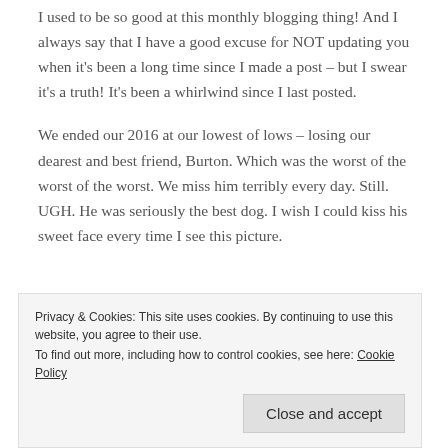I used to be so good at this monthly blogging thing! And I always say that I have a good excuse for NOT updating you when it's been a long time since I made a post – but I swear it's a truth! It's been a whirlwind since I last posted.
We ended our 2016 at our lowest of lows – losing our dearest and best friend, Burton. Which was the worst of the worst of the worst. We miss him terribly every day. Still. UGH. He was seriously the best dog. I wish I could kiss his sweet face every time I see this picture.
[Figure (photo): Dark image strip at top, partial photo of a dog at bottom]
Privacy & Cookies: This site uses cookies. By continuing to use this website, you agree to their use.
To find out more, including how to control cookies, see here: Cookie Policy